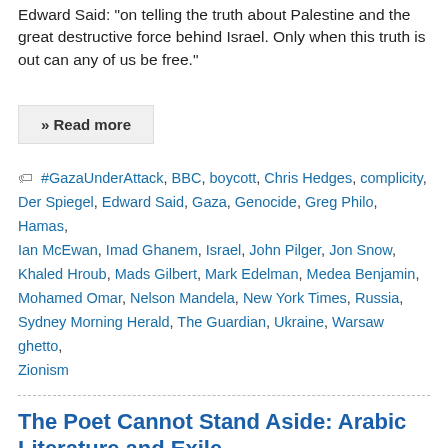Edward Said: "on telling the truth about Palestine and the great destructive force behind Israel. Only when this truth is out can any of us be free."
» Read more
#GazaUnderAttack, BBC, boycott, Chris Hedges, complicity, Der Spiegel, Edward Said, Gaza, Genocide, Greg Philo, Hamas, Ian McEwan, Imad Ghanem, Israel, John Pilger, Jon Snow, Khaled Hroub, Mads Gilbert, Mark Edelman, Medea Benjamin, Mohamed Omar, Nelson Mandela, New York Times, Russia, Sydney Morning Herald, The Guardian, Ukraine, Warsaw ghetto, Zionism
The Poet Cannot Stand Aside: Arabic Literature and Exile
September 12, 2014  Mona Baker  Articles, Culture, Palestine, Translation